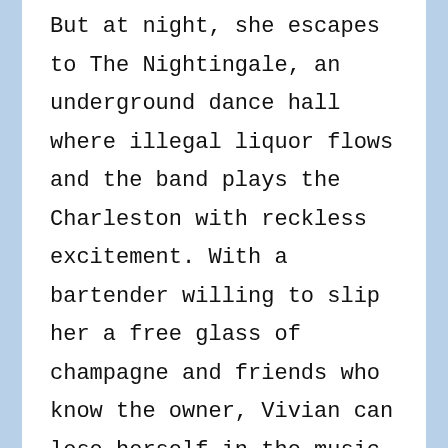But at night, she escapes to The Nightingale, an underground dance hall where illegal liquor flows and the band plays the Charleston with reckless excitement. With a bartender willing to slip her a free glass of champagne and friends who know the owner, Vivian can lose herself in the music. No one asks where she came from or how much money she has. No